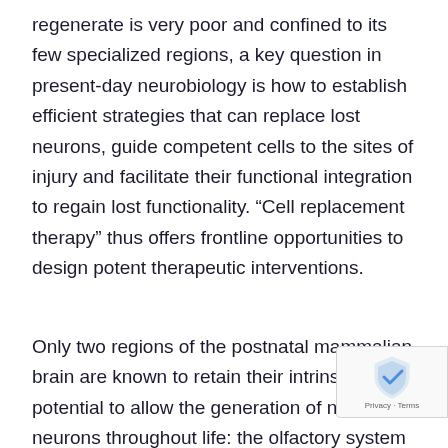regenerate is very poor and confined to its few specialized regions, a key question in present-day neurobiology is how to establish efficient strategies that can replace lost neurons, guide competent cells to the sites of injury and facilitate their functional integration to regain lost functionality. “Cell replacement therapy” thus offers frontline opportunities to design potent therapeutic interventions.
Only two regions of the postnatal mammalian brain are known to retain their intrinsic potential to allow the generation of new neurons throughout life: the olfactory system decoding smell and the hippocampus